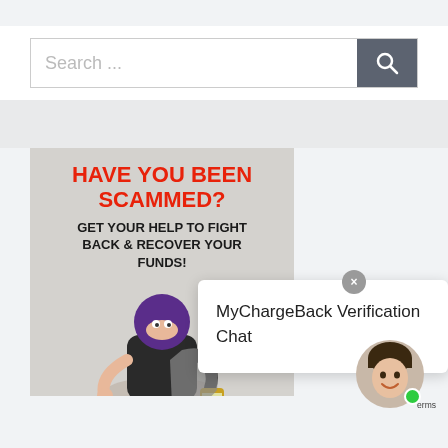[Figure (screenshot): Search bar with text 'Search ...' and a dark search button with magnifying glass icon]
[Figure (infographic): Advertisement image with text 'HAVE YOU BEEN SCAMMED? GET YOUR HELP TO FIGHT BACK & RECOVER YOUR FUNDS!' with burglar illustration]
MyChargeBack Verification Chat